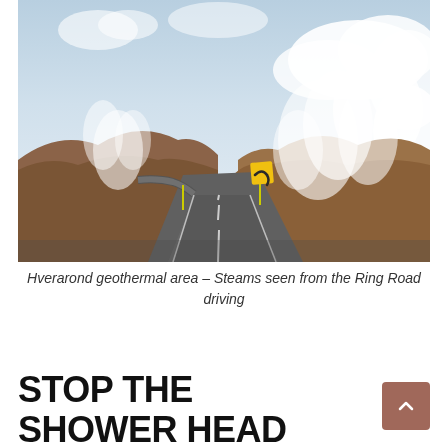[Figure (photo): A winding road through a geothermal landscape with steam vents and brown rocky hills under a partly cloudy sky. A yellow curve warning road sign is visible on the right side of the road.]
Hverarond geothermal area – Steams seen from the Ring Road driving
STOP THE SHOWER HEAD FOR (FUNNY) PICTURES